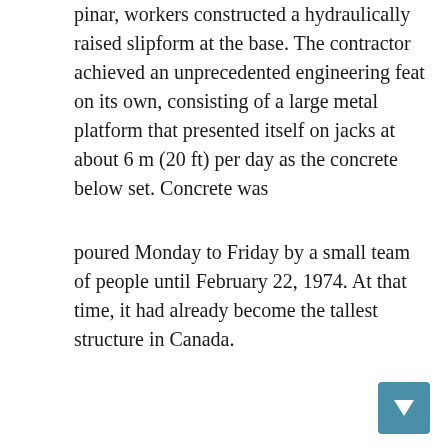pinar, workers constructed a hydraulically raised slipform at the base. The contractor achieved an unprecedented engineering feat on its own, consisting of a large metal platform that presented itself on jacks at about 6 m (20 ft) per day as the concrete below set. Concrete was
poured Monday to Friday by a small team of people until February 22, 1974. At that time, it had already become the tallest structure in Canada.